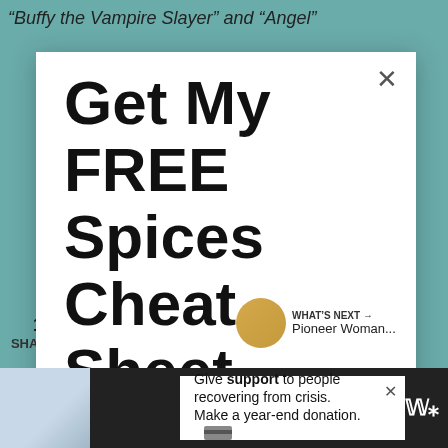“Buffy the Vampire Slayer” and “Angel”
Get My FREE Spices Cheat Sheet
Signup today for free and be the first to get notified when we post new recipes.
You will also get a cheat sheet with over 36 different homemade spice mixes.
First name
WHAT'S NEXT → Pioneer Woman...
Give support to people recovering from crisis. Make a year-end donation.